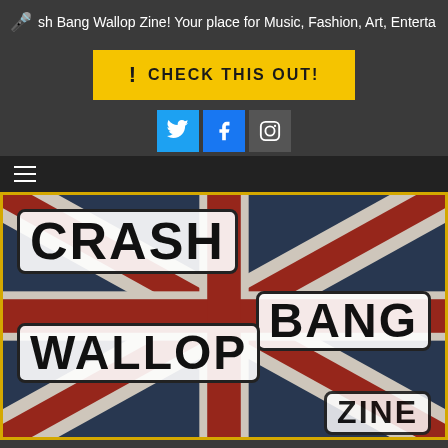sh Bang Wallop Zine! Your place for Music, Fashion, Art, Enterta
! CHECK THIS OUT!
[Figure (screenshot): Crash Bang Wallop Zine logo on Union Jack background with text labels CRASH, BANG, WALLOP, ZINE]
CRASH BANG WALLOP